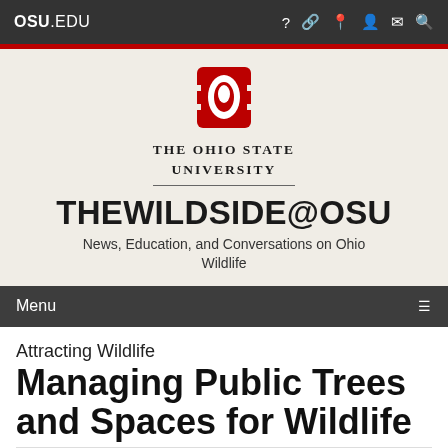OSU.EDU
[Figure (logo): The Ohio State University Block O logo in red and white, with university name beneath]
THEWILDSIDE@OSU
News, Education, and Conversations on Ohio Wildlife
Menu
Attracting Wildlife
Managing Public Trees and Spaces for Wildlife
February 8, 2022 · Filed under: News, Featured...